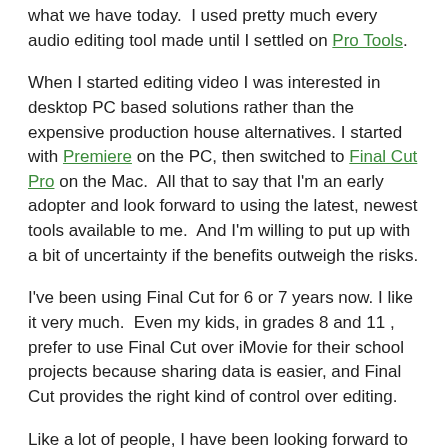what we have today.  I used pretty much every audio editing tool made until I settled on Pro Tools.
When I started editing video I was interested in desktop PC based solutions rather than the expensive production house alternatives. I started with Premiere on the PC, then switched to Final Cut Pro on the Mac.  All that to say that I'm an early adopter and look forward to using the latest, newest tools available to me.  And I'm willing to put up with a bit of uncertainty if the benefits outweigh the risks.
I've been using Final Cut for 6 or 7 years now. I like it very much.  Even my kids, in grades 8 and 11 , prefer to use Final Cut over iMovie for their school projects because sharing data is easier, and Final Cut provides the right kind of control over editing.
Like a lot of people, I have been looking forward to a long overdue update to Final Cut – mostly to improve speed and